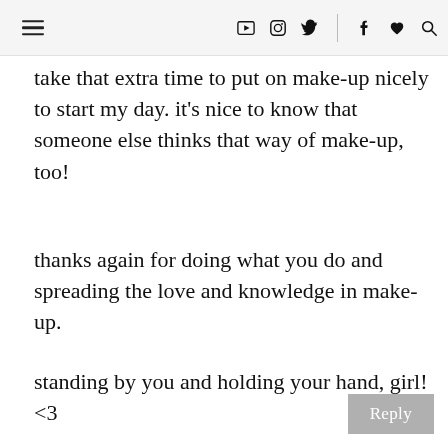☰ ▶ 📷 🐦 f ♥ 🔍
take that extra time to put on make-up nicely to start my day. it's nice to know that someone else thinks that way of make-up, too!
thanks again for doing what you do and spreading the love and knowledge in make-up.
standing by you and holding your hand, girl! <3